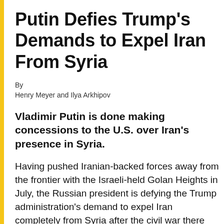Putin Defies Trump's Demands to Expel Iran From Syria
By
Henry Meyer and Ilya Arkhipov
Vladimir Putin is done making concessions to the U.S. over Iran's presence in Syria.
Having pushed Iranian-backed forces away from the frontier with the Israeli-held Golan Heights in July, the Russian president is defying the Trump administration's demand to expel Iran completely from Syria after the civil war there winds down. With Washington's credibility on the ropes both in Moscow and Tehran, the U.S. government is...